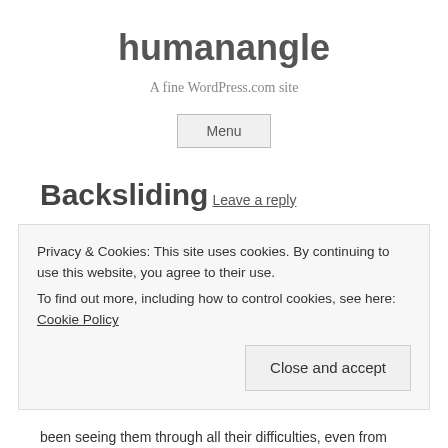humanangle
A fine WordPress.com site
Menu
Backsliding
Leave a reply
Privacy & Cookies: This site uses cookies. By continuing to use this website, you agree to their use.
To find out more, including how to control cookies, see here: Cookie Policy
Close and accept
been seeing them through all their difficulties, even from